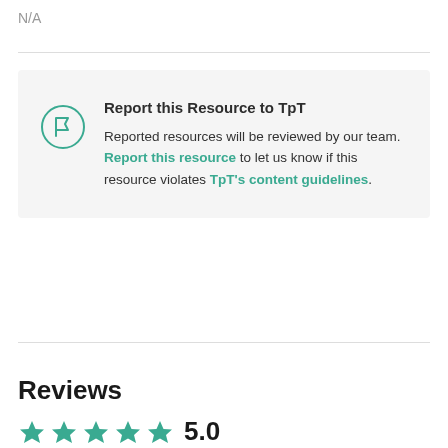N/A
[Figure (other): Report this Resource to TpT box with flag icon. Text: Reported resources will be reviewed by our team. Report this resource to let us know if this resource violates TpT's content guidelines.]
Reviews
5.0